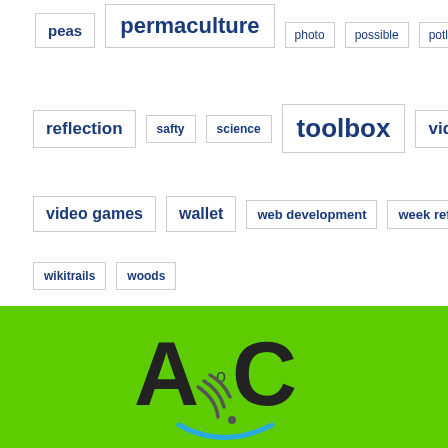peas
permaculture
photo
possible
potluck
reflection
safty
science
toolbox
video
video games
wallet
web development
week reflection
wikitrails
woods
[Figure (logo): AoC logo with stylized letters A and C, a wifi/sync icon, and a blue smile arc, on a green background]